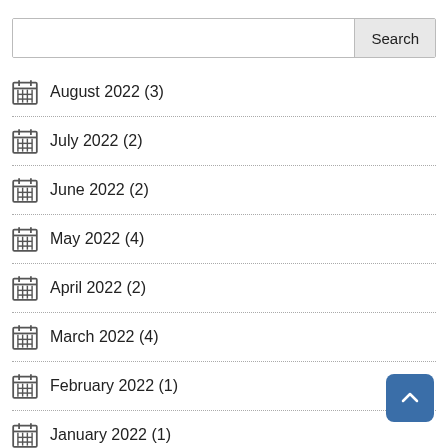August 2022 (3)
July 2022 (2)
June 2022 (2)
May 2022 (4)
April 2022 (2)
March 2022 (4)
February 2022 (1)
January 2022 (1)
November 2021 (1)
October 2021 (1)